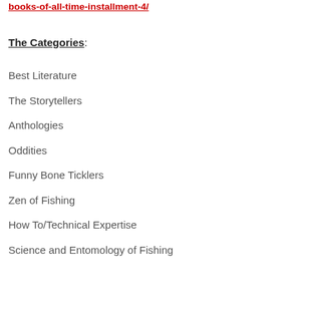books-of-all-time-installment-4/
The Categories:
Best Literature
The Storytellers
Anthologies
Oddities
Funny Bone Ticklers
Zen of Fishing
How To/Technical Expertise
Science and Entomology of Fishing